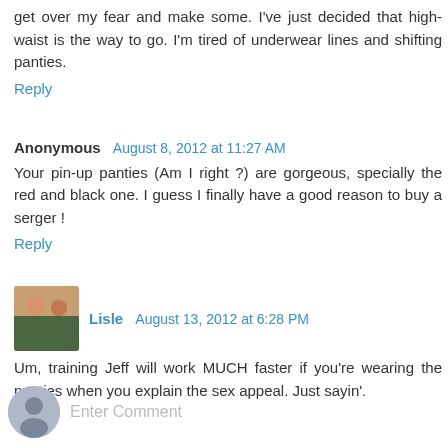get over my fear and make some. I've just decided that high-waist is the way to go. I'm tired of underwear lines and shifting panties.
Reply
Anonymous  August 8, 2012 at 11:27 AM
Your pin-up panties (Am I right ?) are gorgeous, specially the red and black one. I guess I finally have a good reason to buy a serger !
Reply
Lisle  August 13, 2012 at 6:28 PM
Um, training Jeff will work MUCH faster if you're wearing the panties when you explain the sex appeal. Just sayin'.
Reply
Enter Comment